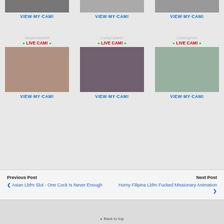[Figure (screenshot): Top row of three webcam thumbnails with VIEW MY CAM buttons]
VIEW·MY·CAM!  VIEW·MY·CAM!  VIEW·MY·CAM!
nastyfontaine69   LovelyCarla4U   2islandgirlsxx
• LIVE CAM! •  • LIVE CAM! •  • LIVE CAM! •
[Figure (photo): Three live cam photos: woman posing, woman in black, woman smiling]
VIEW·MY·CAM!  VIEW·MY·CAM!  VIEW·MY·CAM!
Previous Post  ❮ Asian Lbfm Slut - One Cock Is Never Enough    Next Post  Horny Filipina Lbfm Fucked Missionary Animation ❯
⬥ Back to top